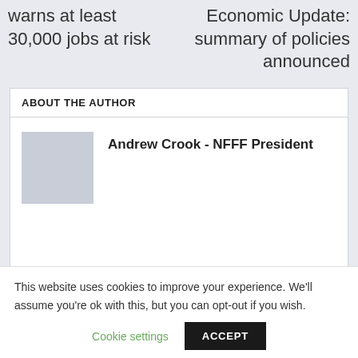warns at least 30,000 jobs at risk
Economic Update: summary of policies announced
ABOUT THE AUTHOR
Andrew Crook - NFFF President
This website uses cookies to improve your experience. We'll assume you're ok with this, but you can opt-out if you wish.
Cookie settings
ACCEPT